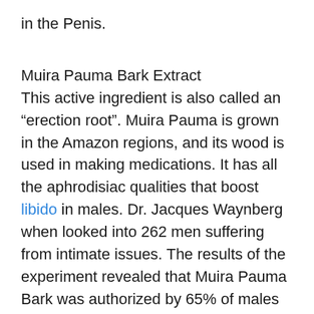in the Penis.
Muira Pauma Bark Extract
This active ingredient is also called an “erection root”. Muira Pauma is grown in the Amazon regions, and its wood is used in making medications. It has all the aphrodisiac qualities that boost libido in males. Dr. Jacques Waynberg when looked into 262 men suffering from intimate issues. The results of the experiment revealed that Muira Pauma Bark was authorized by 65% of males in providing relief in all type of sexual problems.
Hawthorn Berry
Hawthorn Berry is a small fruit that comes from the branch holds of Guatemala. The